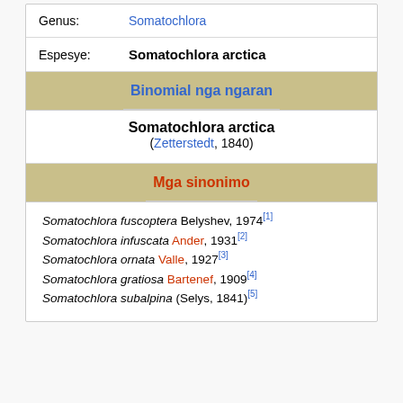| Genus: | Somatochlora |
| Espesye: | Somatochlora arctica |
Binomial nga ngaran
Somatochlora arctica
(Zetterstedt, 1840)
Mga sinonimo
Somatochlora fuscoptera Belyshev, 1974[1]
Somatochlora infuscata Ander, 1931[2]
Somatochlora ornata Valle, 1927[3]
Somatochlora gratiosa Bartenef, 1909[4]
Somatochlora subalpina (Selys, 1841)[5]